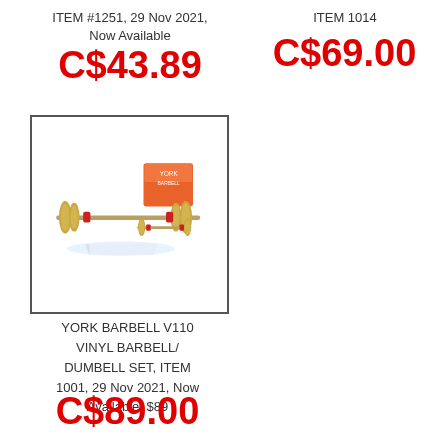ITEM #1251, 29 Nov 2021, Now Available
C$43.89
ITEM 1014
C$69.00
[Figure (photo): York Barbell V110 vinyl barbell and dumbbell set with weight plates shown with product box]
YORK BARBELL V110 VINYL BARBELL/ DUMBELL SET, ITEM 1001, 29 Nov 2021, Now Available, $89
C$89.00